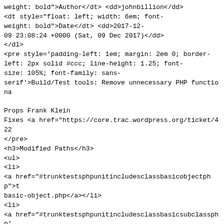weight: bold">Author</dt> <dd>johnbillion</dd>
<dt style="float: left; width: 6em; font-weight: bold">Date</dt> <dd>2017-12-09 23:08:24 +0000 (Sat, 09 Dec 2017)</dd>
</dl>
<pre style='padding-left: 1em; margin: 2em 0; border-left: 2px solid #ccc; line-height: 1.25; font-size: 105%; font-family: sans-serif'>Build/Test tools: Remove unnecessary PHP functiona

Props Frank Klein
Fixes <a href="https://core.trac.wordpress.org/ticket/422
</pre>
<h3>Modified Paths</h3>
<ul>
<li>
<a href="#trunktestsphpunitincludesclassbasicobjectphp">t basic-object.php</a></li>
<li>
<a href="#trunktestsphpunitincludesclassbasicsubclassphp' basic-subclass.php</a></li>
<li>
<a href="#trunktestsphpunitincludesfunctionsphp">trunk/te
</li>
<li>
<a href="#trunktestsphpunittestsbasicphp">trunk/tests/php
</li>
</ul>